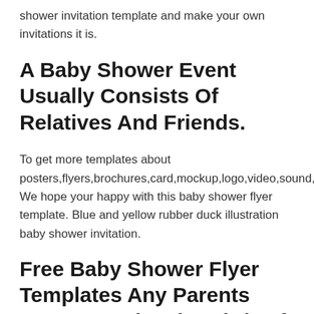shower invitation template and make your own invitations it is.
A Baby Shower Event Usually Consists Of Relatives And Friends.
To get more templates about posters,flyers,brochures,card,mockup,logo,video,sound,ppt,word,please. We hope your happy with this baby shower flyer template. Blue and yellow rubber duck illustration baby shower invitation.
Free Baby Shower Flyer Templates Any Parents Want To Make The Birth Of Their Child Special.